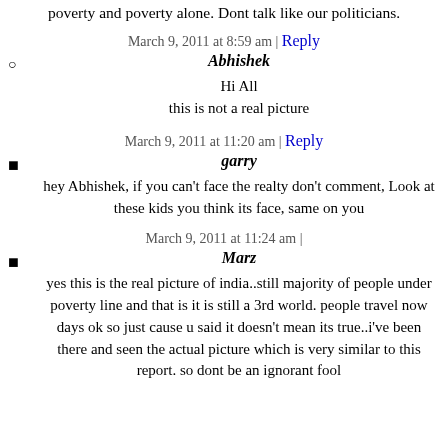poverty and poverty alone. Dont talk like our politicians.
March 9, 2011 at 8:59 am | Reply
Abhishek
Hi All
this is not a real picture
March 9, 2011 at 11:20 am | Reply
garry
hey Abhishek, if you can't face the realty don't comment, Look at these kids you think its face, same on you
March 9, 2011 at 11:24 am |
Marz
yes this is the real picture of india..still majority of people under poverty line and that is it is still a 3rd world. people travel now days ok so just cause u said it doesn't mean its true..i've been there and seen the actual picture which is very similar to this report. so dont be an ignorant fool